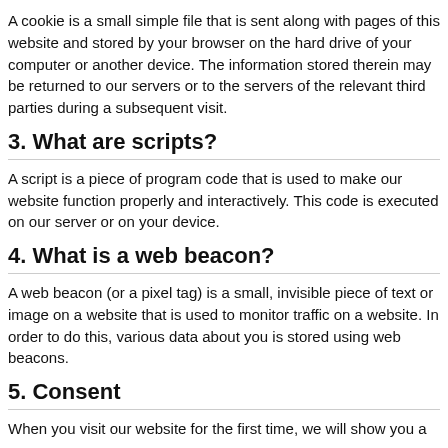A cookie is a small simple file that is sent along with pages of this website and stored by your browser on the hard drive of your computer or another device. The information stored therein may be returned to our servers or to the servers of the relevant third parties during a subsequent visit.
3. What are scripts?
A script is a piece of program code that is used to make our website function properly and interactively. This code is executed on our server or on your device.
4. What is a web beacon?
A web beacon (or a pixel tag) is a small, invisible piece of text or image on a website that is used to monitor traffic on a website. In order to do this, various data about you is stored using web beacons.
5. Consent
When you visit our website for the first time, we will show you a pop-up